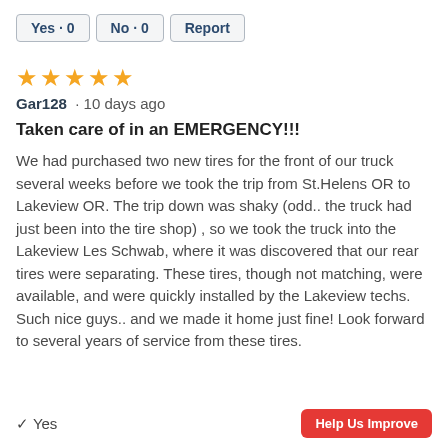Yes · 0   No · 0   Report
[Figure (other): Five gold stars rating]
Gar128  · 10 days ago
Taken care of in an EMERGENCY!!!
We had purchased two new tires for the front of our truck several weeks before we took the trip from St.Helens OR to Lakeview OR. The trip down was shaky (odd.. the truck had just been into the tire shop) , so we took the truck into the Lakeview Les Schwab, where it was discovered that our rear tires were separating. These tires, though not matching, were available, and were quickly installed by the Lakeview techs. Such nice guys.. and we made it home just fine! Look forward to several years of service from these tires.
✓ Yes
Help Us Improve